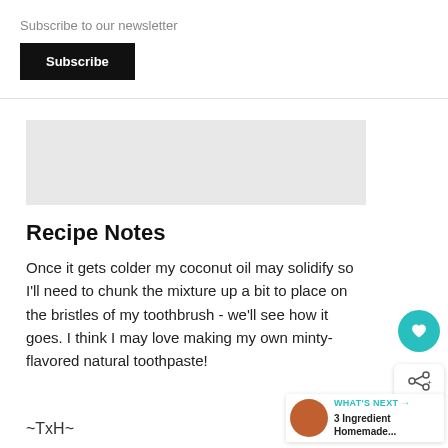Subscribe to our newsletter
Subscribe
×
[Figure (other): Gray advertisement or image placeholder rectangle]
Recipe Notes
Once it gets colder my coconut oil may solidify so I'll need to chunk the mixture up a bit to place on the bristles of my toothbrush - we'll see how it goes. I think I may love making my own minty-flavored natural toothpaste!
~TxH~